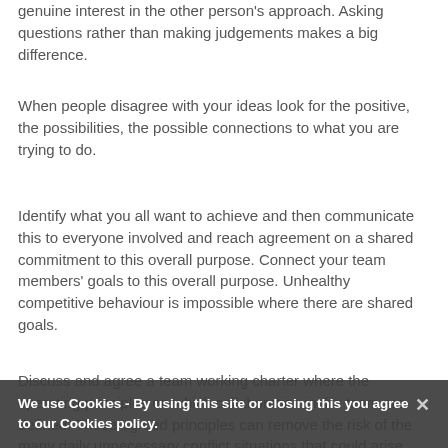genuine interest in the other person's approach. Asking questions rather than making judgements makes a big difference.
When people disagree with your ideas look for the positive, the possibilities, the possible connections to what you are trying to do.
Identify what you all want to achieve and then communicate this to everyone involved and reach agreement on a shared commitment to this overall purpose. Connect your team members' goals to this overall purpose. Unhealthy competitive behaviour is impossible where there are shared goals.
Discuss and agree a team working charter where the operating principles on which collaboration in the team are defined. These agreed principles can remove the risk of the many daily unnecessary conflict situations that could arise.
We use Cookies - By using this site or closing this you agree to our Cookies policy.